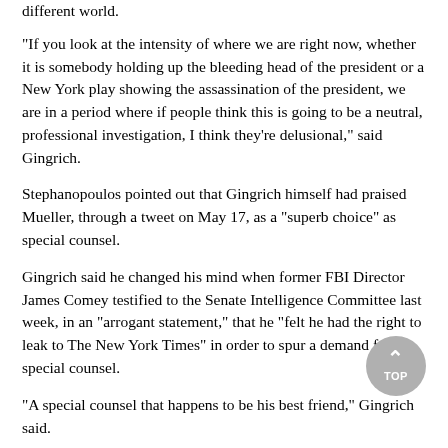different world.
"If you look at the intensity of where we are right now, whether it is somebody holding up the bleeding head of the president or a New York play showing the assassination of the president, we are in a period where if people think this is going to be a neutral, professional investigation, I think they're delusional," said Gingrich.
Stephanopoulos pointed out that Gingrich himself had praised Mueller, through a tweet on May 17, as a "superb choice" as special counsel.
Gingrich said he changed his mind when former FBI Director James Comey testified to the Senate Intelligence Committee last week, in an "arrogant statement," that he "felt he had the right to leak to The New York Times" in order to spur a demand for a special counsel.
"A special counsel that happens to be his best friend," Gingrich said.
Related Stories:
Ruddy: Trump Considering Firing Mueller, White House Doesn't Deny Claim
Schiff: 'Useless' for Trump to Fire Mueller